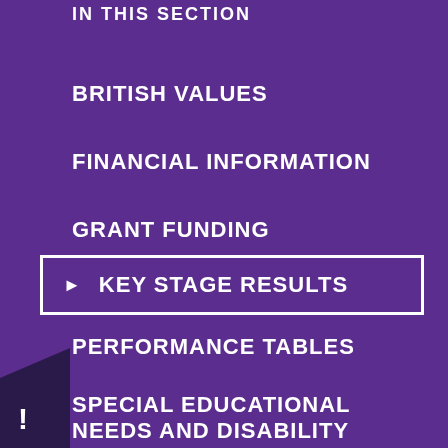IN THIS SECTION
BRITISH VALUES
FINANCIAL INFORMATION
GRANT FUNDING
▶ KEY STAGE RESULTS
PERFORMANCE TABLES
SPECIAL EDUCATIONAL NEEDS AND DISABILITY